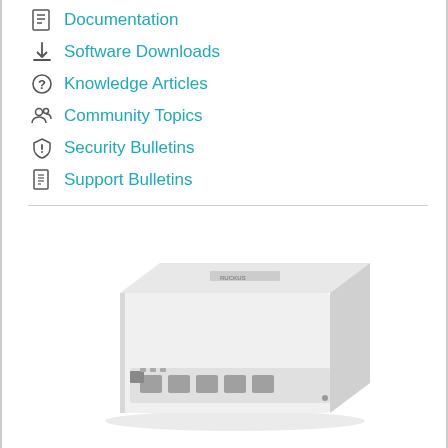Documentation
Software Downloads
Knowledge Articles
Community Topics
Security Bulletins
Support Bulletins
[Figure (photo): Ruckus wall-mount access point/switch device with multiple ethernet ports on the front, white enclosure, photographed at an angle from above]